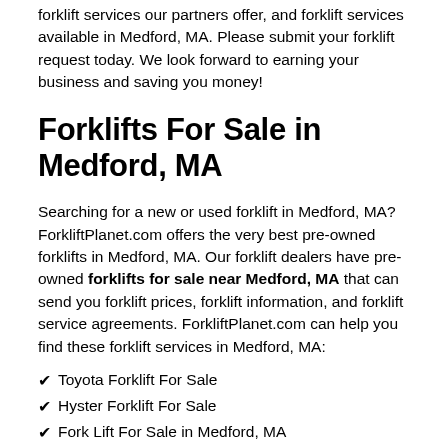forklift services our partners offer, and forklift services available in Medford, MA. Please submit your forklift request today. We look forward to earning your business and saving you money!
Forklifts For Sale in Medford, MA
Searching for a new or used forklift in Medford, MA? ForkliftPlanet.com offers the very best pre-owned forklifts in Medford, MA. Our forklift dealers have pre-owned forklifts for sale near Medford, MA that can send you forklift prices, forklift information, and forklift service agreements. ForkliftPlanet.com can help you find these forklift services in Medford, MA:
Toyota Forklift For Sale
Hyster Forklift For Sale
Fork Lift For Sale in Medford, MA